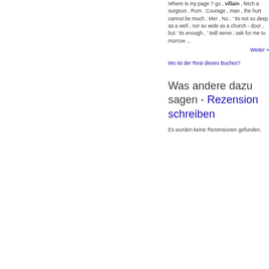Where is my page ? go , villain , fetch a surgeon . Rom . Courage , man , the hurt cannot be much . Mer . No , ' tis not so deep as a well , nor so wide as a church - door , but ' tis enough , ' twill serve : ask for me to morrow ...
Weiter »
Wo ist der Rest dieses Buches?
Was andere dazu sagen - Rezension schreiben
Es wurden keine Rezensionen gefunden.